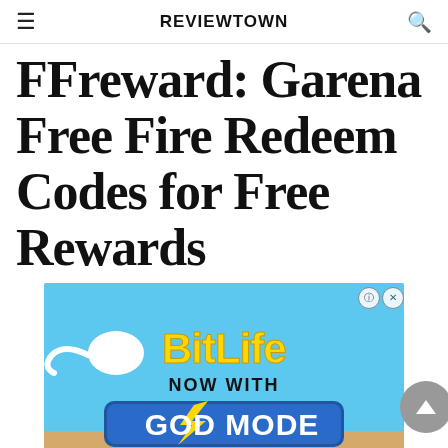REVIEWTOWN
FFreward: Garena Free Fire Redeem Codes for Free Rewards
[Figure (photo): Advertisement banner for BitLife mobile game featuring 'NOW WITH GOD MODE' text on a blue background with a lightning bolt graphic and a cartoon sperm cell character. Has a close button in the top right corner.]